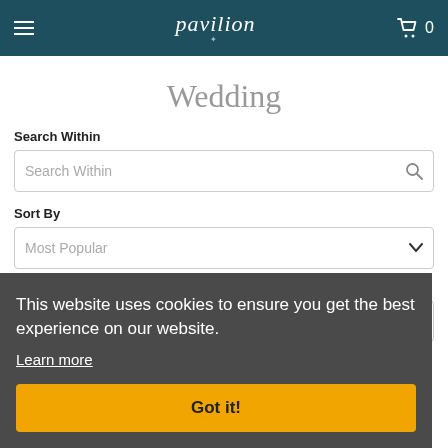pavilion — navigation header with hamburger menu and cart
Wedding
Search Within
Sort By
Page Size
This website uses cookies to ensure you get the best experience on our website. Learn more Got it!